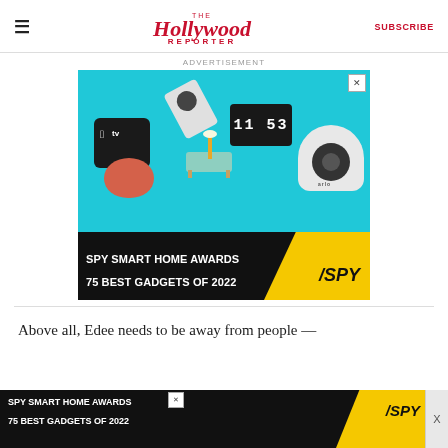The Hollywood Reporter | SUBSCRIBE
ADVERTISEMENT
[Figure (photo): Advertisement image for SPY Smart Home Awards - 75 Best Gadgets of 2022, showing smart home devices including Apple TV, Google Home, security cameras on a teal background with black and yellow banner]
Above all, Edee needs to be away from people —
[Figure (photo): Sticky bottom advertisement for SPY Smart Home Awards - 75 Best Gadgets of 2022]